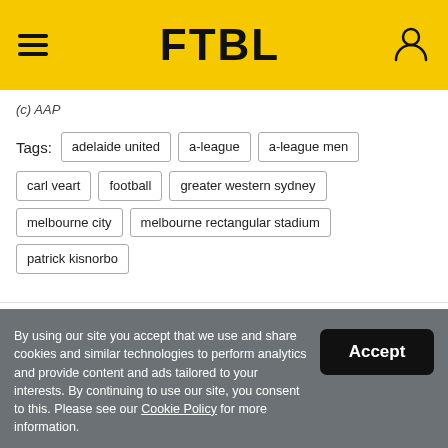FTBL
(c) AAP
Tags: adelaide united  a-league  a-league men  carl veart  football  greater western sydney  melbourne city  melbourne rectangular stadium  patrick kisnorbo
Recommended for You
By using our site you accept that we use and share cookies and similar technologies to perform analytics and provide content and ads tailored to your interests. By continuing to use our site, you consent to this. Please see our Cookie Policy for more information.